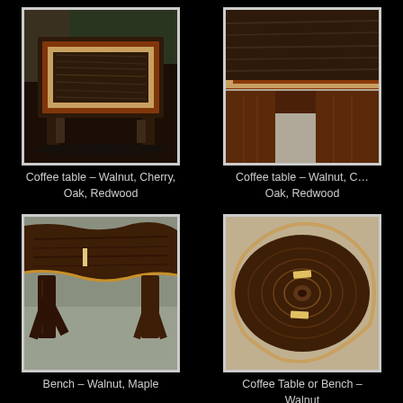[Figure (photo): Close-up photo of a wooden coffee table with walnut, cherry, oak, and redwood inlay, photographed outdoors]
Coffee table – Walnut, Cherry, Oak, Redwood
[Figure (photo): Close-up corner detail of a coffee table showing walnut, cherry, oak, and redwood joinery]
Coffee table – Walnut, Cherry, Oak, Redwood
[Figure (photo): Close-up of bench leg and live-edge top detail in walnut and maple]
Bench – Walnut, Maple
[Figure (photo): Top-down view of a live-edge walnut slab showing wood grain rings, used as coffee table or bench]
Coffee Table or Bench – Walnut
[Figure (photo): Partial view of a wooden furniture piece, bottom left]
[Figure (photo): Partial view of a wooden furniture piece, bottom right]